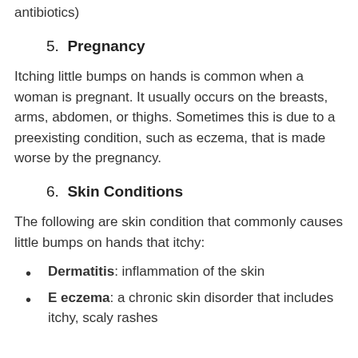antibiotics)
5. Pregnancy
Itching little bumps on hands is common when a woman is pregnant. It usually occurs on the breasts, arms, abdomen, or thighs. Sometimes this is due to a preexisting condition, such as eczema, that is made worse by the pregnancy.
6. Skin Conditions
The following are skin condition that commonly causes little bumps on hands that itchy:
Dermatitis: inflammation of the skin
E eczema: a chronic skin disorder that includes itchy, scaly rashes